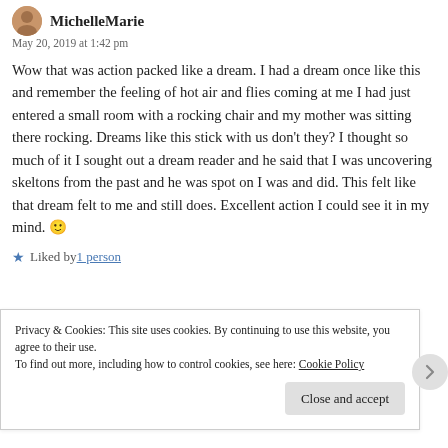MichelleMarie
May 20, 2019 at 1:42 pm
Wow that was action packed like a dream. I had a dream once like this and remember the feeling of hot air and flies coming at me I had just entered a small room with a rocking chair and my mother was sitting there rocking. Dreams like this stick with us don't they? I thought so much of it I sought out a dream reader and he said that I was uncovering skeltons from the past and he was spot on I was and did. This felt like that dream felt to me and still does. Excellent action I could see it in my mind. 🙂
★ Liked by 1 person
Privacy & Cookies: This site uses cookies. By continuing to use this website, you agree to their use. To find out more, including how to control cookies, see here: Cookie Policy